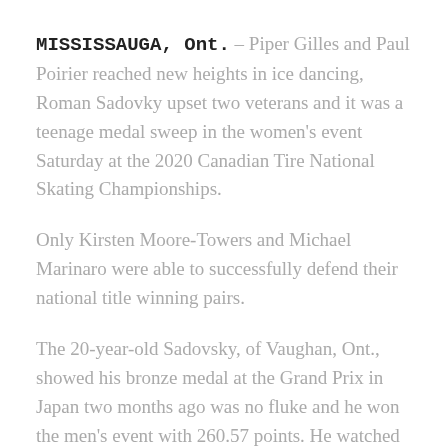MISSISSAUGA, Ont. – Piper Gilles and Paul Poirier reached new heights in ice dancing, Roman Sadovky upset two veterans and it was a teenage medal sweep in the women's event Saturday at the 2020 Canadian Tire National Skating Championships.
Only Kirsten Moore-Towers and Michael Marinaro were able to successfully defend their national title winning pairs.
The 20-year-old Sadovsky, of Vaughan, Ont., showed his bronze medal at the Grand Prix in Japan two months ago was no fluke and he won the men's event with 260.57 points. He watched both defending champion Nam Nguyen and Olympian Keegan Messing deliver mistake filled programs to take second and third at at 242.51 and 241.72...